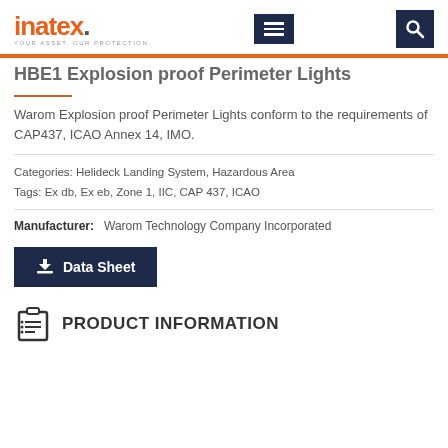inatex. YOUR ASSET. OUR PROTECTION.
HBE1 Explosion proof Perimeter Lights
Warom Explosion proof Perimeter Lights conform to the requirements of CAP437, ICAO Annex 14, IMO.
Categories: Helideck Landing System, Hazardous Area
Tags: Ex db, Ex eb, Zone 1, IIC, CAP 437, ICAO
Manufacturer: Warom Technology Company Incorporated
Data Sheet
PRODUCT INFORMATION